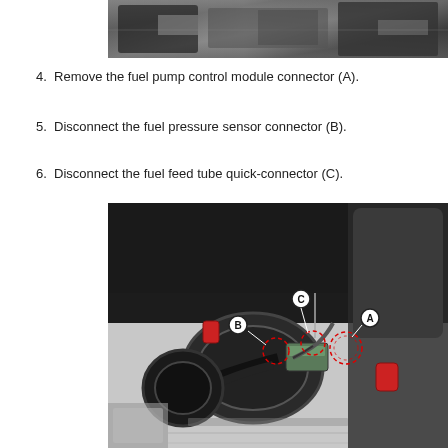[Figure (photo): Top partial view of automotive fuel pump area, showing black mechanical components and metal frame]
4. Remove the fuel pump control module connector (A).
5. Disconnect the fuel pressure sensor connector (B).
6. Disconnect the fuel feed tube quick-connector (C).
[Figure (photo): Bottom view of fuel pump assembly area showing connectors labeled A, B, and C with red dashed circles highlighting connector locations. Black fuel lines, a rectangular module, and red clips are visible.]